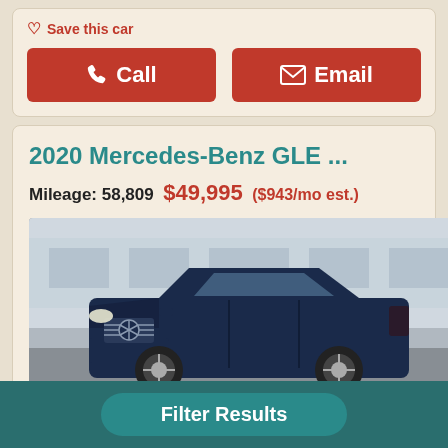Save this car
Call
Email
2020 Mercedes-Benz GLE ...
Mileage: 58,809  $49,995 ($943/mo est.)
[Figure (photo): Front view of a dark blue 2020 Mercedes-Benz GLE SUV in a dealership lot, showing 20 photos badge]
20 photos
Salt Lake City, UT
Filter Results